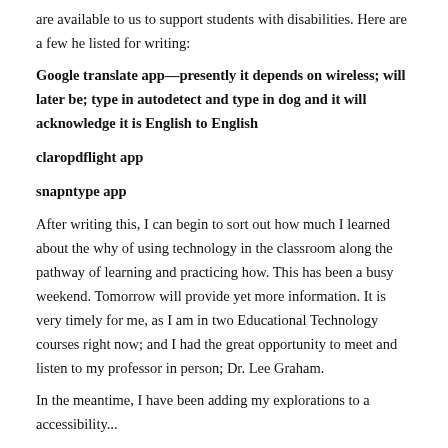are available to us to support students with disabilities. Here are a few he listed for writing:
Google translate app—presently it depends on wireless; will later be; type in autodetect and type in dog and it will acknowledge it is English to English
claropdflight app
snapntype app
After writing this, I can begin to sort out how much I learned about the why of using technology in the classroom along the pathway of learning and practicing how. This has been a busy weekend. Tomorrow will provide yet more information. It is very timely for me, as I am in two Educational Technology courses right now; and I had the great opportunity to meet and listen to my professor in person; Dr. Lee Graham.
In the meantime, I have been adding my explorations to a accessibility...